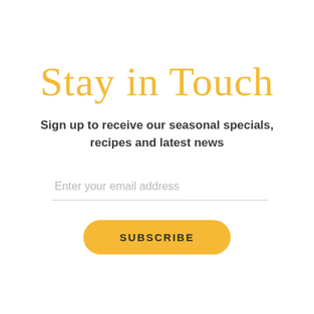Stay in Touch
Sign up to receive our seasonal specials, recipes and latest news
Enter your email address
SUBSCRIBE